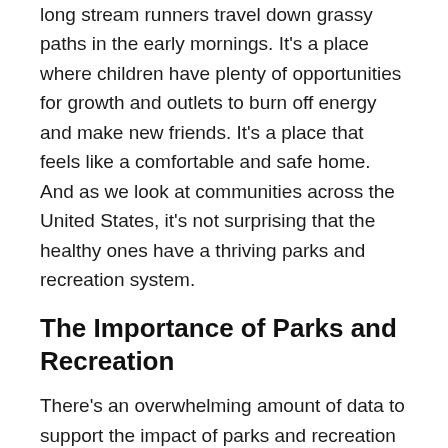long stream runners travel down grassy paths in the early mornings. It's a place where children have plenty of opportunities for growth and outlets to burn off energy and make new friends. It's a place that feels like a comfortable and safe home.  And as we look at communities across the United States, it's not surprising that the healthy ones have a thriving parks and recreation system.
The Importance of Parks and Recreation
There's an overwhelming amount of data to support the impact of parks and recreation centers on municipalities. According to research by the National Parks and Recreation Association (NRPA), proximity to a park or recreation center correlates to higher physical activity levels in children and adults